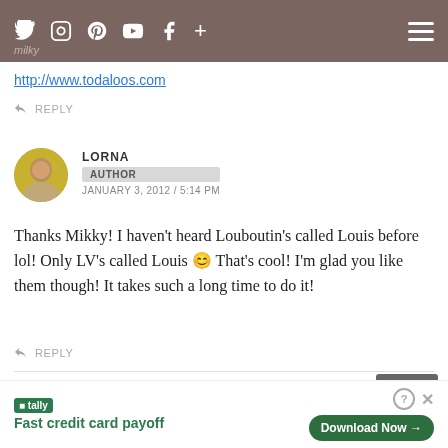Social icons navigation bar with hamburger menu
milky
http://www.todaloos.com
REPLY
LORNA
AUTHOR
JANUARY 3, 2012 / 5:14 PM
Thanks Mikky! I haven't heard Louboutin's called Louis before lol! Only LV's called Louis 😊 That's cool! I'm glad you like them though! It takes such a long time to do it!
REPLY
PIGLET
[Figure (infographic): Advertisement banner: Tally logo with text 'Fast credit card payoff', Close X button, info and close icons, Download Now button with arrow]